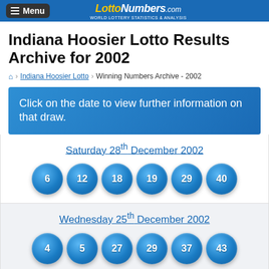Menu | LottoNumbers.com - WORLD LOTTERY STATISTICS & ANALYSIS
Indiana Hoosier Lotto Results Archive for 2002
Home > Indiana Hoosier Lotto > Winning Numbers Archive - 2002
Click on the date to view further information on that draw.
Saturday 28th December 2002 - 6, 12, 18, 19, 29, 40
Wednesday 25th December 2002 - 4, 5, 27, 29, 37, 43
Saturday 21st December 2002